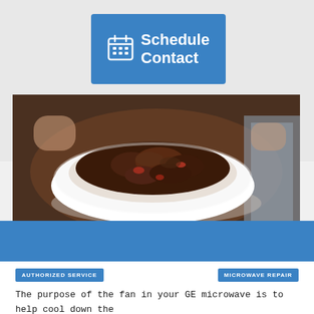[Figure (other): Blue button with calendar icon reading 'Schedule Contact']
[Figure (photo): A white bowl filled with a dark meat and vegetable dish (chili or similar), being placed into a microwave oven]
AUTHORIZED SERVICE
MICROWAVE REPAIR
The purpose of the fan in your GE microwave is to help cool down the appliance after it has been used. This helps to protect the components within the microwave so they don't overheat and become defective